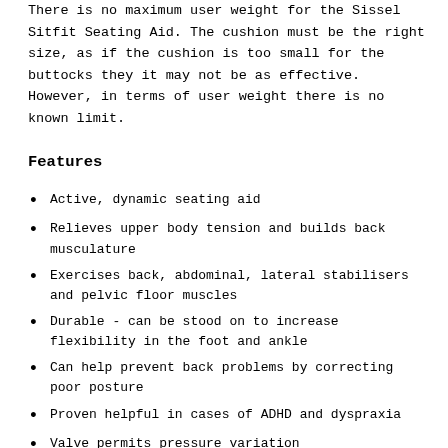There is no maximum user weight for the Sissel Sitfit Seating Aid. The cushion must be the right size, as if the cushion is too small for the buttocks they it may not be as effective. However, in terms of user weight there is no known limit.
Features
Active, dynamic seating aid
Relieves upper body tension and builds back musculature
Exercises back, abdominal, lateral stabilisers and pelvic floor muscles
Durable - can be stood on to increase flexibility in the foot and ankle
Can help prevent back problems by correcting poor posture
Proven helpful in cases of ADHD and dyspraxia
Valve permits pressure variation
Complete with exercise poster
Latex and phthalate free - sensitive to these allergies